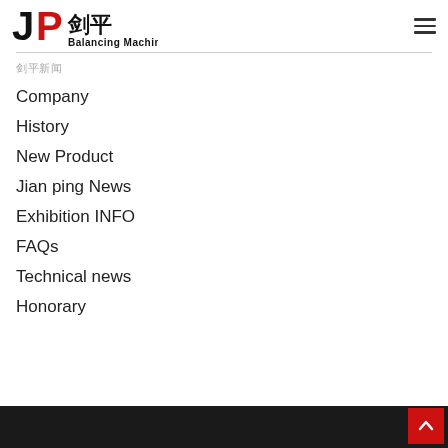[Figure (logo): JP Jian Ping Balancing Machine logo with red P and black J and Chinese characters 剑平]
剑平新闻
Company
History
New Product
Jian ping News
Exhibition INFO
FAQs
Technical news
Honorary
Back to top button